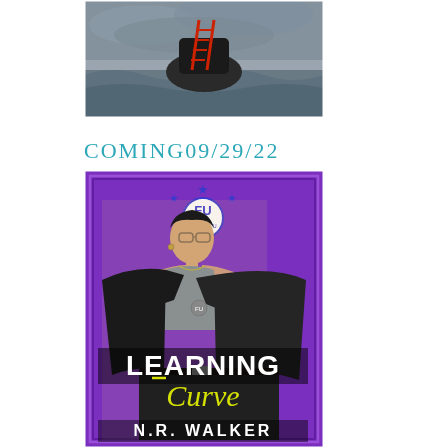[Figure (illustration): Book cover showing a dramatic scene with a red ladder leaning against a dark rocky island or cliff rising from stormy ocean waters, black and white/grey tones]
COMING09/29/22
[Figure (illustration): Book cover for 'Learning Curve' by N.R. Walker. Features a young man with glasses wearing an open black leather jacket over a grey shirt, posing confidently against a purple background with a 'FU' university logo with blue stars at the top. Title text reads 'LEARNING' in large white block letters and 'Curve' in yellow cursive script. Author name 'N.R. WALKER' at the bottom in white.]